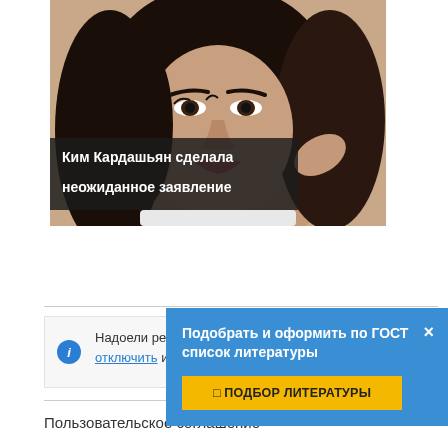[Figure (photo): Photo of a dark-haired woman (Kim Kardashian) with overlay caption text in Russian: 'Ким Кардашьян сделала неожиданное заявление']
Ким Кардашьян сделала неожиданное заявление
Надоели реклама и всплывающие окна? Вы можете отключить...
[Figure (screenshot): Blue popup overlay: 'Подобрать и оформить по ГОСТ список литературы' with button '☐ ПОДБОР ЛИТЕРАТУРЫ' and close X button]
Пользовательское соглашение